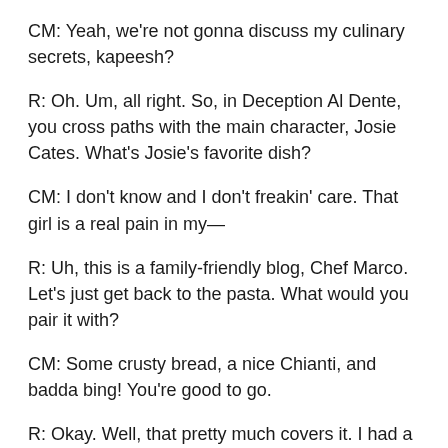CM: Yeah, we're not gonna discuss my culinary secrets, kapeesh?
R: Oh. Um, all right. So, in Deception Al Dente, you cross paths with the main character, Josie Cates. What's Josie's favorite dish?
CM: I don't know and I don't freakin' care. That girl is a real pain in my—
R: Uh, this is a family-friendly blog, Chef Marco. Let's just get back to the pasta. What would you pair it with?
CM: Some crusty bread, a nice Chianti, and badda bing! You're good to go.
R: Okay. Well, that pretty much covers it. I had a lot more planned, but you sort of derailed the entire interview.